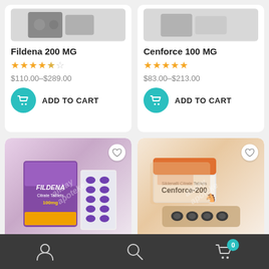Fildena 200 MG
Rating: 4.5/5 stars
$110.00–$289.00
ADD TO CART
Cenforce 100 MG
Rating: 5/5 stars
$83.00–$213.00
ADD TO CART
[Figure (photo): Product image of Fildena 100 (purple pill blister pack with box)]
[Figure (photo): Product image of Cenforce 200 (orange/white box with dark pill blister pack)]
Navigation bar with user, search, and cart icons. Cart badge shows 0.